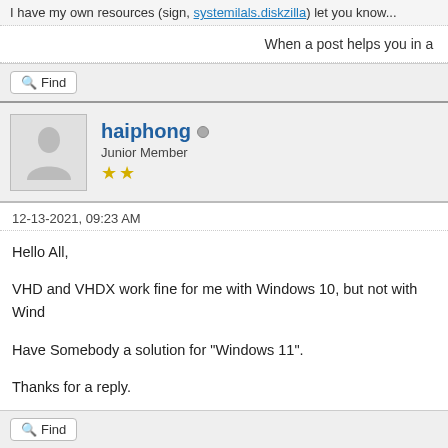I have my own resources (sign, systemilals.diskzilla) let you know...
When a post helps you in an...
Find
haiphong
Junior Member
★★
12-13-2021, 09:23 AM
Hello All,
VHD and VHDX work fine for me with Windows 10, but not with Wind...
Have Somebody a solution for "Windows 11".
Thanks for a reply.
Find